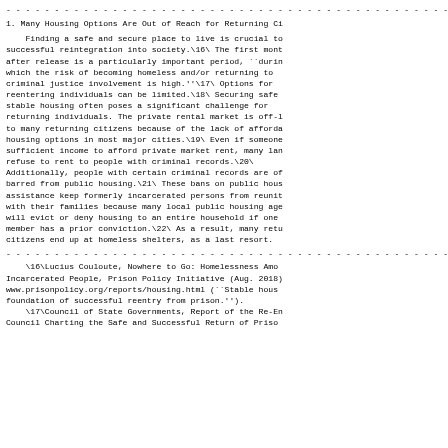- - - - - - - - - - - - - - - - - - - - - - - - - - - - - - - - - - - - - - - - - - - - - - - - - - - - - - -
1. Many Housing Options Are Out of Reach for Returning Ci
Finding a safe and secure place to live is crucial to successful reintegration into society.\16\ The first mont after release is a particularly important period, ``duri which the risk of becoming homeless and/or returning to criminal justice involvement is high.''\17\ Options for reentering individuals can be limited.\18\ Securing safe stable housing often poses a significant challenge for returning individuals. The private rental market is off-l to many returning citizens because of the lack of afford housing options in most major cities.\19\ Even if someone sufficient income to afford private market rent, many lan refuse to rent to people with criminal records.\20\ Additionally, people with certain criminal records are of barred from public housing.\21\ These bans on public hous assistance keep formerly incarcerated persons from reunit with their families because many local public housing age will evict or deny housing to an entire household if one member has a prior conviction.\22\ As a result, many retu citizens end up at homeless shelters, as a last resort.
- - - - - - - - - - - - - - - - - - - - - - - - - - - - - - - - - - - - - - - - - - - - - - - - - - - - - - -
\16\Lucius Couloute, Nowhere to Go: Homelessness Amo Incarcerated People, Prison Policy Initiative (Aug. 2018 www.prisonpolicy.org/reports/housing.html (``Stable hous foundation of successful reentry from prison.'').
\17\Council of State Governments, Report of the Re-E Council Charting the Safe and Successful Return of Priso